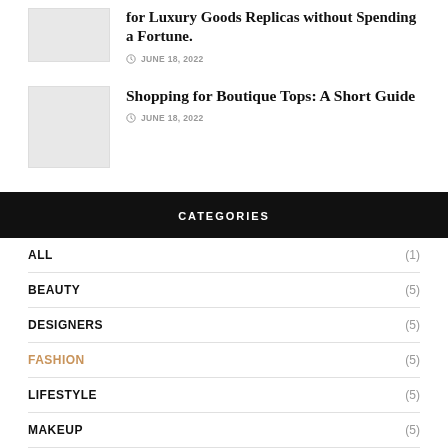[Figure (photo): Thumbnail image placeholder for luxury goods article]
for Luxury Goods Replicas without Spending a Fortune.
JUNE 18, 2022
[Figure (photo): Thumbnail image placeholder for boutique tops article]
Shopping for Boutique Tops: A Short Guide
JUNE 18, 2022
CATEGORIES
ALL (1)
BEAUTY (5)
DESIGNERS (5)
FASHION (5)
LIFESTYLE (5)
MAKEUP (5)